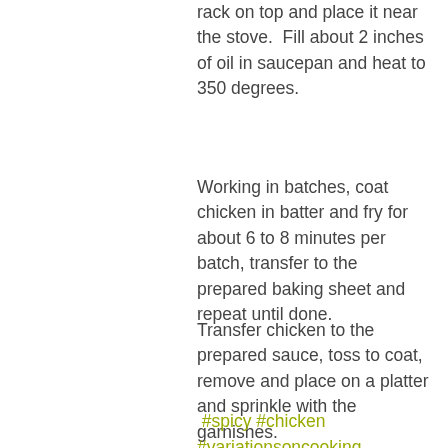rack on top and place it near the stove.  Fill about 2 inches of oil in saucepan and heat to 350 degrees.
Working in batches, coat chicken in batter and fry for about 6 to 8 minutes per batch, transfer to the prepared baking sheet and repeat until done.
Transfer chicken to the prepared sauce, toss to coat, remove and place on a platter and sprinkle with the garnishes.
#spicy #chicken #variationsoncooking
Chicken